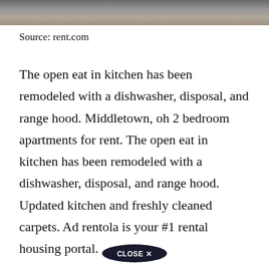[Figure (photo): Partial photo strip at top of page showing a road or driveway surface, grays and tans]
Source: rent.com
The open eat in kitchen has been remodeled with a dishwasher, disposal, and range hood. Middletown, oh 2 bedroom apartments for rent. The open eat in kitchen has been remodeled with a dishwasher, disposal, and range hood. Updated kitchen and freshly cleaned carpets. Ad rentola is your #1 rental housing portal.
[Figure (other): CLOSE X button overlay at bottom center]